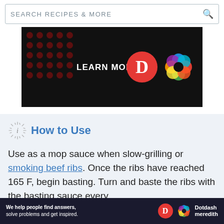SEARCH RECIPES & MORE
[Figure (screenshot): Black advertisement banner with 'LEARN MORE' text in white with red arrow, red circle D logo (Dotdash), and colorful flower/knot logo (Meredith). Dark red dot pattern on left side.]
How to Use
Use as a mop sauce when slow-grilling or smoking beef ribs. Once the ribs have reached 165 F, begin basting. Turn and baste the ribs with the basting sauce every
[Figure (screenshot): Bottom advertisement bar: dark navy background with 'We help people find answers, solve problems and get inspired.' text, Dotdash D red circle logo, and Dotdash Meredith colorful logo and brand name in white.]